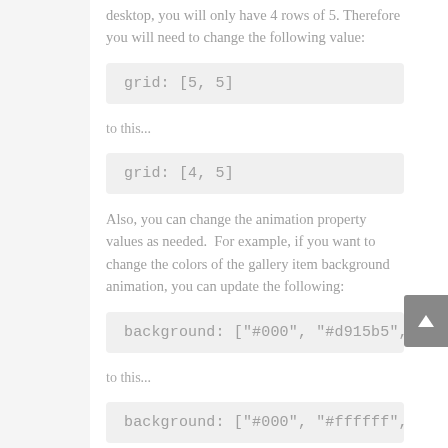desktop, you will only have 4 rows of 5. Therefore you will need to change the following value:
grid: [5, 5]
to this...
grid: [4, 5]
Also, you can change the animation property values as needed. For example, if you want to change the colors of the gallery item background animation, you can update the following:
background: ["#000", "#d915b5", "
to this...
background: ["#000", "#ffffff", "
This will change the pink background color to white during the animation.